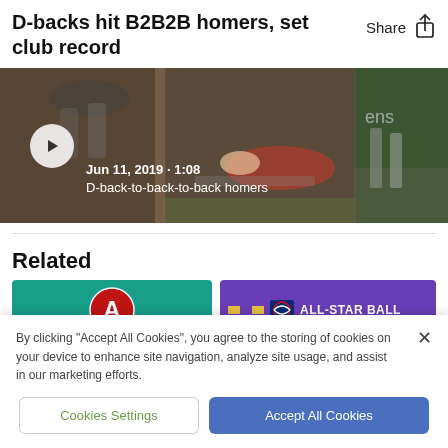D-backs hit B2B2B homers, set club record
[Figure (screenshot): Video thumbnail showing baseball game footage with play button, date 'Jun 11, 2019 · 1:08' and caption 'D-back-to-back-to-back homers']
Related
[Figure (screenshot): Two related article card thumbnails side by side: left is teal/green with Diamondbacks logo, right is purple with Chevrolet and MLB All-Star Ball branding]
By clicking "Accept All Cookies", you agree to the storing of cookies on your device to enhance site navigation, analyze site usage, and assist in our marketing efforts.